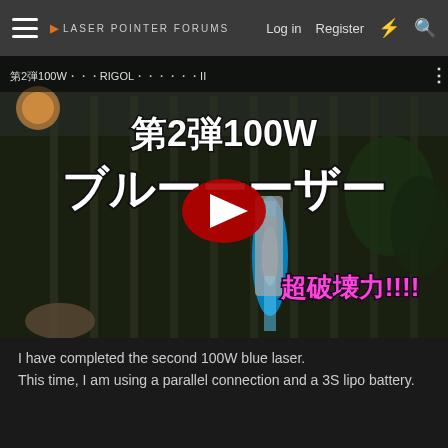Laser Pointer Forums — Log in  Register
[Figure (screenshot): YouTube video thumbnail showing a 100W blue laser demonstration. Japanese text reads 第2弾100W ブルーザー 超破壊力!!!! with a YouTube play button overlay.]
I have completed the second 100W blue laser.
This time, I am using a parallel connection and a 3S lipo battery.